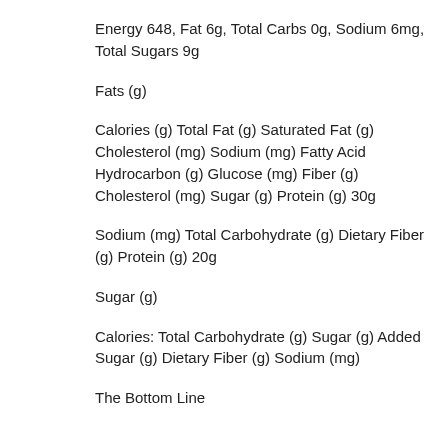Energy 648, Fat 6g, Total Carbs 0g, Sodium 6mg, Total Sugars 9g
Fats (g)
Calories (g) Total Fat (g) Saturated Fat (g) Cholesterol (mg) Sodium (mg) Fatty Acid Hydrocarbon (g) Glucose (mg) Fiber (g) Cholesterol (mg) Sugar (g) Protein (g) 30g
Sodium (mg) Total Carbohydrate (g) Dietary Fiber (g) Protein (g) 20g
Sugar (g)
Calories: Total Carbohydrate (g) Sugar (g) Added Sugar (g) Dietary Fiber (g) Sodium (mg)
The Bottom Line